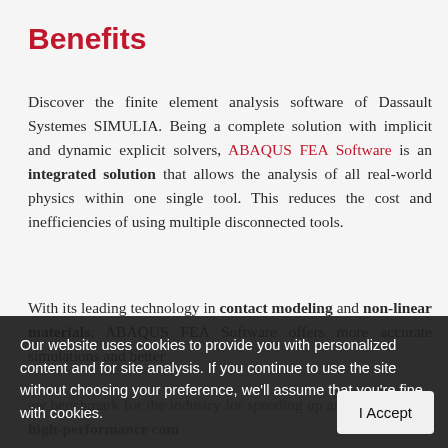Benefits
Discover the finite element analysis software of Dassault Systemes SIMULIA. Being a complete solution with implicit and dynamic explicit solvers, ABAQUS FEA Software is an integrated solution that allows the analysis of all real-world physics within one single tool. This reduces the cost and inefficiencies of using multiple disconnected tools.
With its leading technology in contact modeling and non-linear materials, ABAQUS FEA Software offers more accurate simulations and better
Our website uses cookies to provide you with personalized content and for site analysis. If you continue to use the site without choosing your preference, we'll assume that you're fine with cookies.
ew benchmark for the industry for speeding up analyses through high-performance computing. Reducing analysis turnaround time enables the